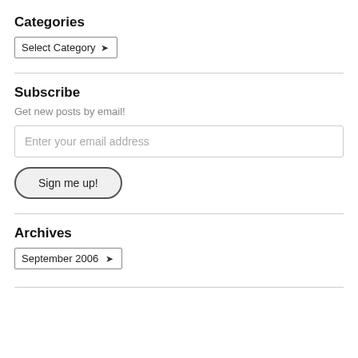Categories
Select Category ▾
Subscribe
Get new posts by email!
Enter your email address
Sign me up!
Archives
September 2006 ▾